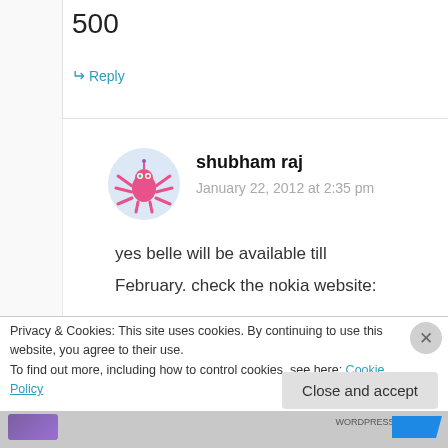500
↳ Reply
shubham raj
January 22, 2012 at 2:35 pm
yes belle will be available till
February. check the nokia website:
Privacy & Cookies: This site uses cookies. By continuing to use this website, you agree to their use.
To find out more, including how to control cookies, see here: Cookie Policy